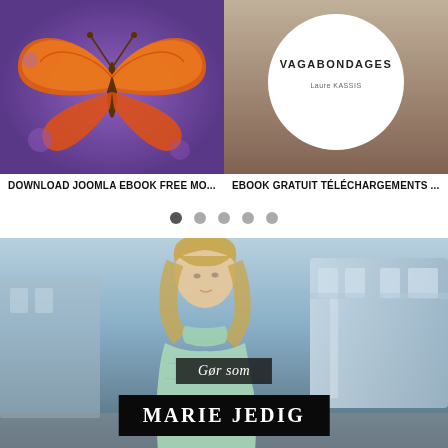[Figure (photo): Book cover with butterfly illustration on purple background]
[Figure (photo): Book cover 'Vagabondages' with white circle on brown/tan background]
DOWNLOAD JOOMLA EBOOK FREE MO...
EBOOK GRATUIT TÉLÉCHARGEMENTS ...
[Figure (other): Pagination dots row with 5 dots, first one active/dark]
[Figure (photo): Photo of woman with blonde hair wearing mint/light green sweater standing at train station, with overlaid text 'Gør som MARIE JEDIG']